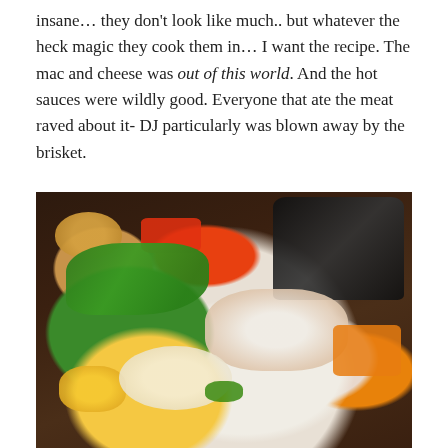insane… they don't look like much.. but whatever the heck magic they cook them in… I want the recipe. The mac and cheese was out of this world. And the hot sauces were wildly good. Everyone that ate the meat raved about it- DJ particularly was blown away by the brisket.
[Figure (photo): A top-down photo of a food tray showing a plate with green beans, coleslaw, corn, mac and cheese; a biscuit; small cups of red, orange, and green hot sauces; and black plastic forks.]